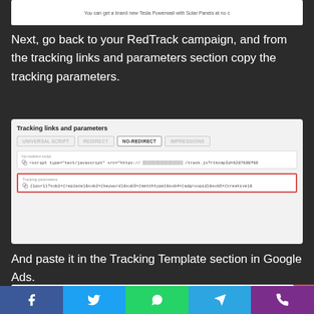[Figure (screenshot): Partial screenshot showing Tesla Powerwall ad text at top of page]
Next, go back to your RedTrack campaign, and from the tracking links and parameters section copy the tracking parameters.
[Figure (screenshot): Screenshot of RedTrack interface showing Tracking links and parameters section with NO-REDIRECT tab selected, showing script field and highlighted Tracking parameters field with URL template: {lpurl}?sub1={replace}&sub2={keyword}&sub3={matchtype}&sub4={adgroupid}&sub5={creative}&...]
And paste it in the Tracking Template section in Google Ads.
[Figure (screenshot): Partial screenshot of Google Ads Description field showing: You can get a Brand New Tesla Powerwall and Solar Panels at no c...]